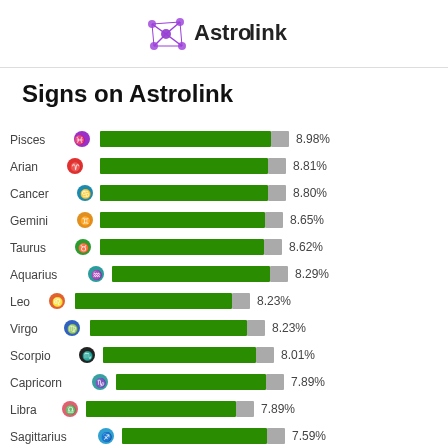[Figure (logo): Astrolink logo with purple network/molecule icon and text 'Astrolink']
Signs on Astrolink
[Figure (bar-chart): Signs on Astrolink]